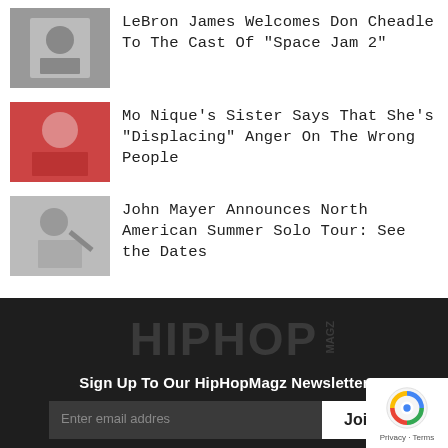LeBron James Welcomes Don Cheadle To The Cast Of "Space Jam 2"
Mo Nique's Sister Says That She's "Displacing" Anger On The Wrong People
John Mayer Announces North American Summer Solo Tour: See the Dates
[Figure (logo): HipHopMagz logo in dark gray on black background]
Sign Up To Our HipHopMagz Newsletter